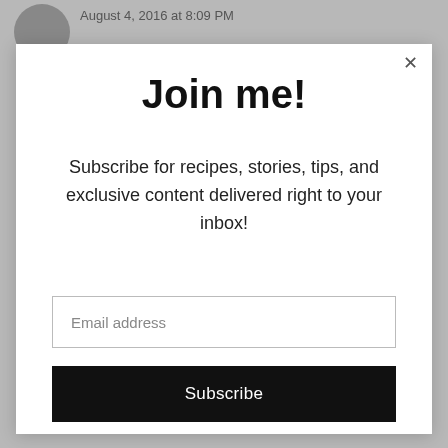August 4, 2016 at 8:09 PM
[Figure (illustration): Gray circular user avatar icon]
Join me!
Subscribe for recipes, stories, tips, and exclusive content delivered right to your inbox!
Email address
Subscribe